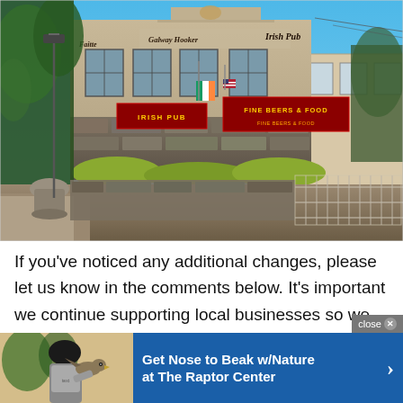[Figure (photo): Exterior photo of Galway Hooker Irish Pub building with signage reading 'Faitte', 'Galway Hooker', 'Irish Pub', 'Fine Beers & Food'. Stone wall and iron fence in foreground, trees on left, blue sky background.]
If you've noticed any additional changes, please let us know in the comments below. It's important we continue supporting local businesses so we highly encourage you to dine at locally-owned restaurants and sh[ops] [rath]er out,
[Figure (infographic): Advertisement overlay: close button top right reading 'close X', left side shows person with bird photo, right blue section reads 'Get Nose to Beak w/Nature at The Raptor Center' with arrow]